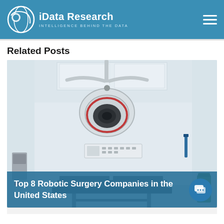iData Research INTELLIGENCE BEHIND THE DATA
Related Posts
[Figure (photo): Operating room interior with a large surgical overhead lamp, white walls, wall-mounted control panels, and a surgical table.]
Top 8 Robotic Surgery Companies in the United States